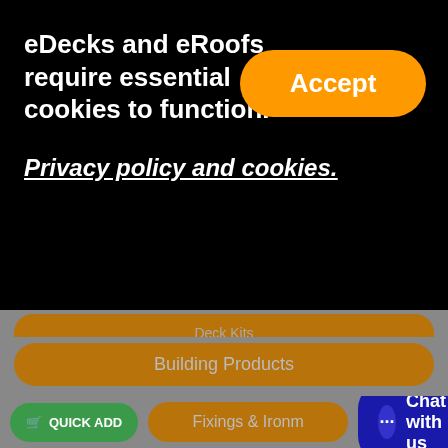eDecks and eRoofs require essential cookies to function.
Accept
Privacy policy and cookies.
Timber
Garden Buildings
Artificial Grass
Fencing & Gates
Paint & Stains
Paving, Bricks & Aggregate
Fixings & Ironm...
Building Products
QUICK ADD
Chat with us